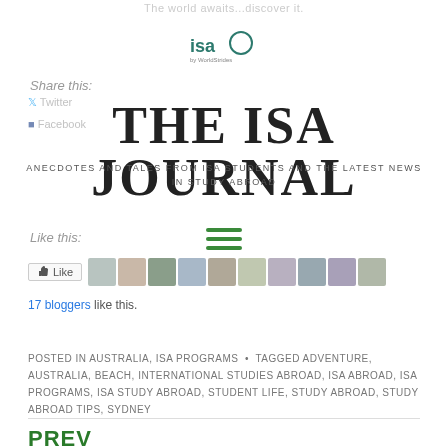The world awaits...discover it.
[Figure (logo): ISA by WorldStrides logo]
Share this:
THE ISA JOURNAL
ANECDOTES AND TALES FROM ISA STUDENTS AND THE LATEST NEWS IN STUDY ABROAD
Like this:
[Figure (other): Hamburger menu icon with three horizontal green lines]
[Figure (other): Like button and avatar strip showing 17 bloggers like this]
17 bloggers like this.
POSTED IN AUSTRALIA, ISA PROGRAMS  •  TAGGED ADVENTURE, AUSTRALIA, BEACH, INTERNATIONAL STUDIES ABROAD, ISA ABROAD, ISA PROGRAMS, ISA STUDY ABROAD, STUDENT LIFE, STUDY ABROAD, STUDY ABROAD TIPS, SYDNEY
PREV